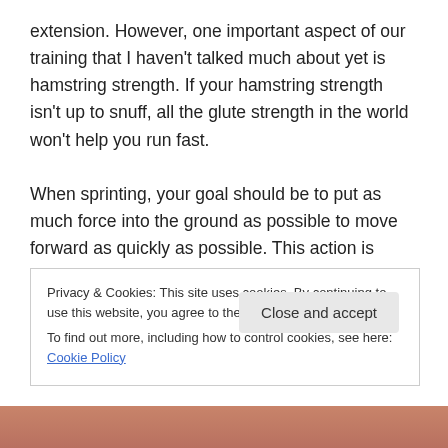extension. However, one important aspect of our training that I haven't talked much about yet is hamstring strength. If your hamstring strength isn't up to snuff, all the glute strength in the world won't help you run fast.

When sprinting, your goal should be to put as much force into the ground as possible to move forward as quickly as possible. This action is driven by hip extension, but in order for the force generated by the hip to reach the ground, it needs to travel through the hamstrings first. This means that in order to run fast, sprinters need to have
Privacy & Cookies: This site uses cookies. By continuing to use this website, you agree to their use.
To find out more, including how to control cookies, see here: Cookie Policy
Close and accept
[Figure (photo): Bottom strip showing a partial photo with reddish-brown skin tone background]